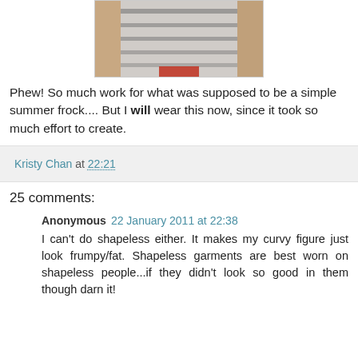[Figure (photo): Partial photo of a person wearing a grey striped shirt, cropped to show torso area]
Phew! So much work for what was supposed to be a simple summer frock.... But I will wear this now, since it took so much effort to create.
Kristy Chan at 22:21
25 comments:
Anonymous 22 January 2011 at 22:38
I can't do shapeless either. It makes my curvy figure just look frumpy/fat. Shapeless garments are best worn on shapeless people...if they didn't look so good in them though darn it!